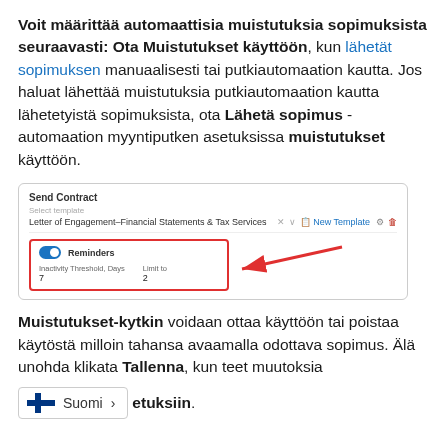Voit määrittää automaattisia muistutuksia sopimuksista seuraavasti: Ota Muistutukset käyttöön, kun lähetät sopimuksen manuaalisesti tai putkiautomaation kautta. Jos haluat lähettää muistutuksia putkiautomaation kautta lähetetyistä sopimuksista, ota Lähetä sopimus -automaation myyntiputken asetuksissa muistutukset käyttöön.
[Figure (screenshot): Screenshot of Send Contract dialog with Reminders toggle enabled (blue), showing fields for Inactivity Threshold Days and Limit to, with a red rectangle highlight and red arrow pointing to the Reminders toggle.]
Muistutukset-kytkin voidaan ottaa käyttöön tai poistaa käytöstä milloin tahansa avaamalla odottava sopimus. Älä unohda klikata Tallenna, kun teet muutoksia asetuksiin.
[Figure (screenshot): Finnish language selector button showing Finland flag and text 'Suomi' with a right arrow.]